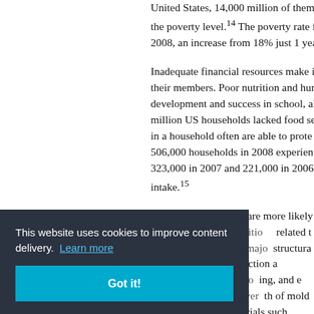United States, 14,000 million of them below the poverty level.14 The poverty rate for 2008, an increase from 18% just 1 year
Inadequate financial resources make it difficult for families to meet the basic needs of their members. Poor nutrition and hunger adversely affect children's physical development and success in school, although adults in food-insecure households. 14.6 million US households lacked food security in 2008. While adults in a household often are able to protect children from reduced food intake, 506,000 households in 2008 experienced very low food security among children (up from 323,000 in 2007 and 221,000 in 2006), meaning the children experienced reduced intake.15
Low-income children are more likely to live in housing with structural problems or chronic health conditions related to housing. The United States had major structural housing construction and maintenance problems, with inadequate investment into heating, and lighting, and electrical systems. These conditions also often result in overgrowth of mold, dust mites, cockroaches, and hazardous materials such as lead. Homes associated with asthma and other conditions have developmental consequences for children. Injuries also occur in the home, with both falls and t...
This website uses cookies to improve content delivery. Learn more
Got it!